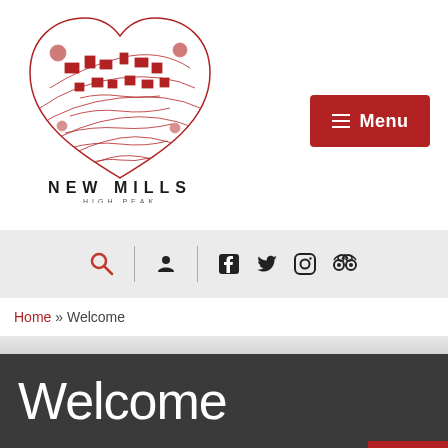[Figure (logo): New Mills High Peak heart-shaped illustrated logo with red line art of a town inside a heart shape, and text NEW MILLS / HIGH PEAK below]
[Figure (other): Red button with hamburger menu icon and text Menu]
[Figure (other): Toolbar with search (magnifying glass), user, vertical separator, Facebook, Twitter, Instagram, and TripAdvisor icons on grey background]
Home » Welcome
Welcome